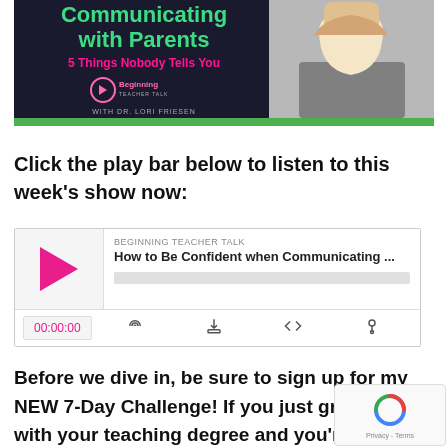[Figure (screenshot): Thumbnail image for podcast episode about Communicating with Parents - 5 Things Nobody Tells You. Left side shows text on dark background with green and pink text. Right side shows a blonde woman. Green bar at bottom. Branding: Beginning Teacher Talk with Dr. Lori Friesen.]
Click the play bar below to listen to this week's show now:
[Figure (screenshot): Podcast player UI. Left: pink play button triangle on grey background. Right: podcast name 'BEGINNING TEACHER TALK', episode title 'How to Be Confident when Communicating ...', grey progress bar. Bottom row: time display '00:00:00', RSS icon, download icon, embed icon, share icon.]
Before we dive in, be sure to sign up for my NEW 7-Day Challenge! If you just graduated with your teaching degree and you're thinking about setting up your first